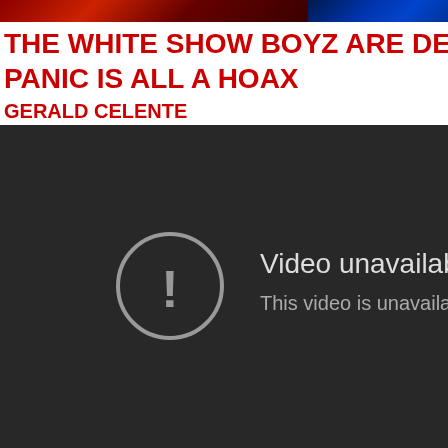[Figure (screenshot): Top strip showing partial images: left side shows a red-toned image partially visible, right side shows a blue-toned image partially visible]
THE WHITE SHOW BOYZ ARE DESTE
PANIC IS ALL A HOAX
GERALD CELENTE
[Figure (screenshot): YouTube video unavailable screen showing dark background with exclamation circle icon and text 'Video unavailable / This video is unavailable']